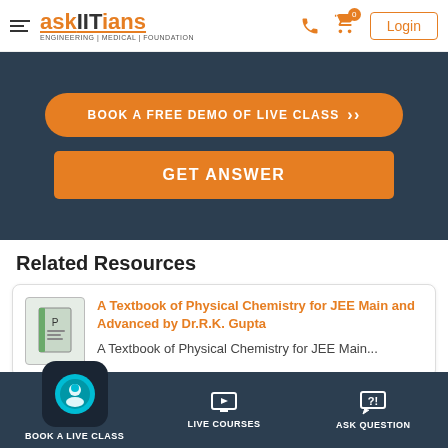askIITians — ENGINEERING | MEDICAL | FOUNDATION
BOOK A FREE DEMO OF LIVE CLASS
GET ANSWER
Related Resources
A Textbook of Physical Chemistry for JEE Main and Advanced by Dr.R.K. Gupta
A Textbook of Physical Chemistry for JEE Main...
BOOK A LIVE CLASS | LIVE COURSES | ASK QUESTION